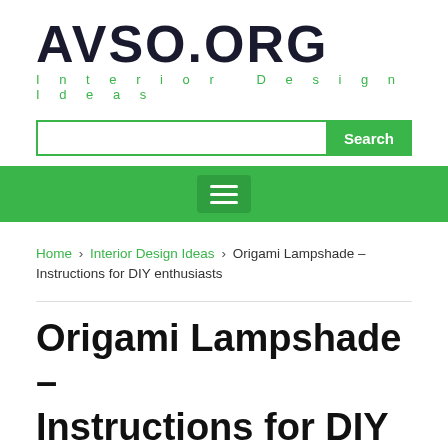AVSO.ORG Interior Design Ideas
Search
[Figure (other): Green navigation bar with hamburger menu button]
Home › Interior Design Ideas › Origami Lampshade – Instructions for DIY enthusiasts
Origami Lampshade – Instructions for DIY enthusiasts